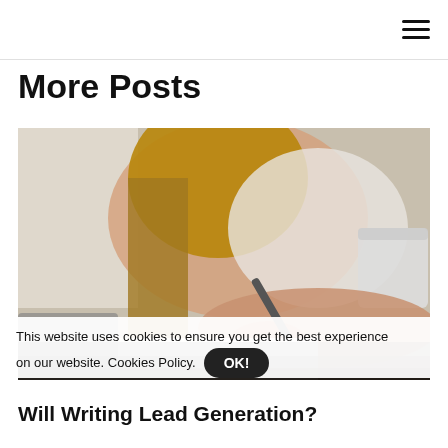≡
More Posts
[Figure (photo): A person with long hair writing in a notebook with a purple pen, a white mug in the background, blurred style photo]
This website uses cookies to ensure you get the best experience on our website. Cookies Policy.
Will Writing Lead Generation?